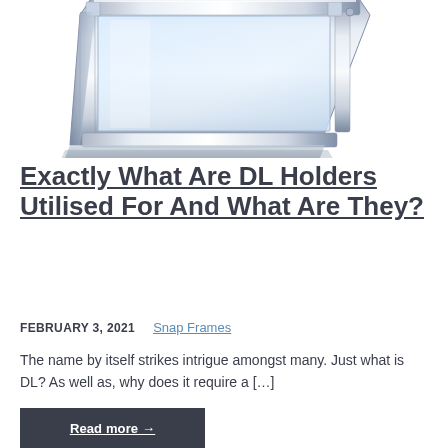[Figure (photo): A chrome/metallic snap frame or DL holder with a glass or clear acrylic front panel, photographed from above at an angle, showing reflective silver edges against a white background.]
Exactly What Are DL Holders Utilised For And What Are They?
FEBRUARY 3, 2021   Snap Frames
The name by itself strikes intrigue amongst many. Just what is DL? As well as, why does it require a […]
Read more →